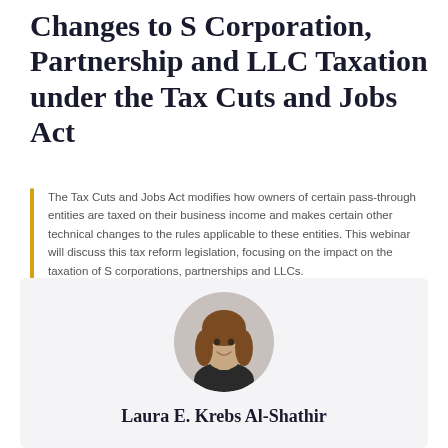Changes to S Corporation, Partnership and LLC Taxation under the Tax Cuts and Jobs Act
The Tax Cuts and Jobs Act modifies how owners of certain pass-through entities are taxed on their business income and makes certain other technical changes to the rules applicable to these entities. This webinar will discuss this tax reform legislation, focusing on the impact on the taxation of S corporations, partnerships and LLCs.
[Figure (photo): Circular headshot photo of Laura E. Krebs Al-Shathir, a woman with long brown hair, smiling, wearing a dark jacket, displayed within a light gray rounded rectangle background.]
Laura E. Krebs Al-Shathir